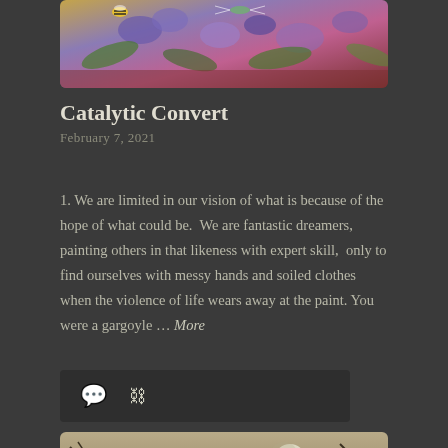[Figure (photo): Colorful floral and insect painting with bees, dragonflies, and flowers in yellows, purples, pinks on a warm background]
Catalytic Convert
February 7, 2021
1. We are limited in our vision of what is because of the hope of what could be.  We are fantastic dreamers,  painting others in that likeness with expert skill,  only to find ourselves with messy hands and soiled clothes when the violence of life wears away at the paint. You were a gargoyle … More
[Figure (photo): Sepia-toned landscape with bare trees and a full moon in a night sky]